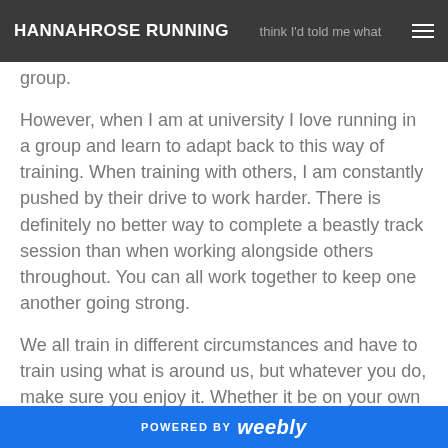HANNAHROSE RUNNING
group.
However, when I am at university I love running in a group and learn to adapt back to this way of training. When training with others, I am constantly pushed by their drive to work harder. There is definitely no better way to complete a beastly track session than when working alongside others throughout. You can all work together to keep one another going strong.
We all train in different circumstances and have to train using what is around us, but whatever you do, make sure you enjoy it. Whether it be on your own or with others, love your training.
POWERED BY weebly